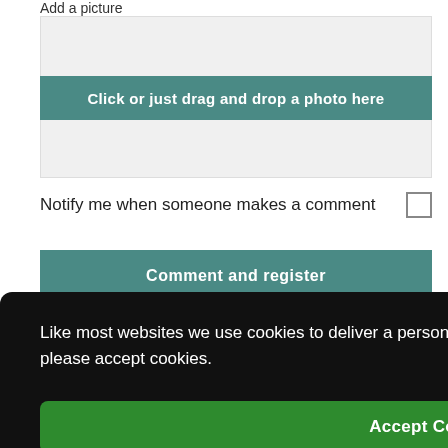Add a picture
[Figure (screenshot): Photo upload area with teal button labeled 'Click or just drag and drop a photo here' on a grey background]
Notify me when someone makes a comment
[Figure (screenshot): Teal 'Comment and register' button]
vacy
8.00
Gift Aid
Like most websites we use cookies to deliver a personalised service. To use the website as intended please accept cookies.
[Figure (screenshot): Green 'Accept Cookies' button]